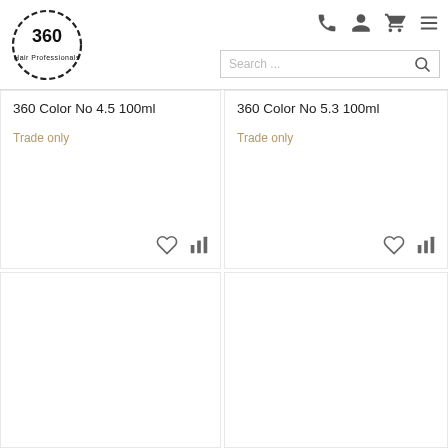[Figure (logo): 360 Hair Professionals circular logo]
360 Color No 4.5 100ml
Trade only
360 Color No 5.3 100ml
Trade only